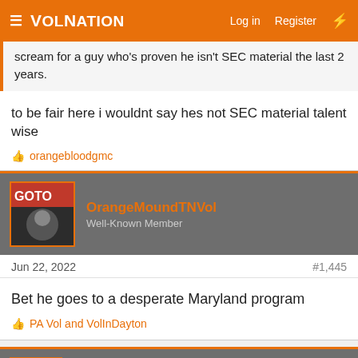VolNation — Log in  Register
scream for a guy who's proven he isn't SEC material the last 2 years.
to be fair here i wouldnt say hes not SEC material talent wise
👍 orangebloodgmc
OrangeMoundTNVol — Well-Known Member
Jun 22, 2022   #1,445
Bet he goes to a desperate Maryland program
👍 PA Vol and VolInDayton
HoleInTheRoof